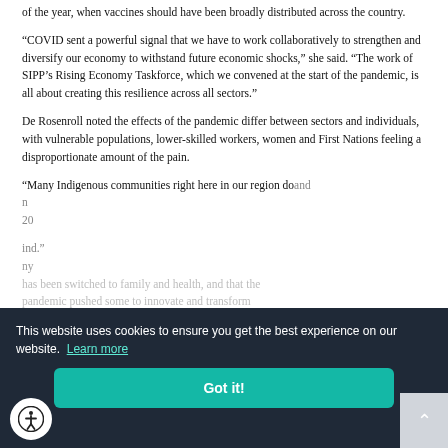of the year, when vaccines should have been broadly distributed across the country.
“COVID sent a powerful signal that we have to work collaboratively to strengthen and diversify our economy to withstand future economic shocks,” she said. “The work of SIPP’s Rising Economy Taskforce, which we convened at the start of the pandemic, is all about creating this resilience across all sectors.”
De Rosenroll noted the effects of the pandemic differ between sectors and individuals, with vulnerable populations, lower-skilled workers, women and First Nations feeling a disproportionate amount of the pain.
“Many Indigenous communities right here in our region do
This website uses cookies to ensure you get the best experience on our website. Learn more
Got it!